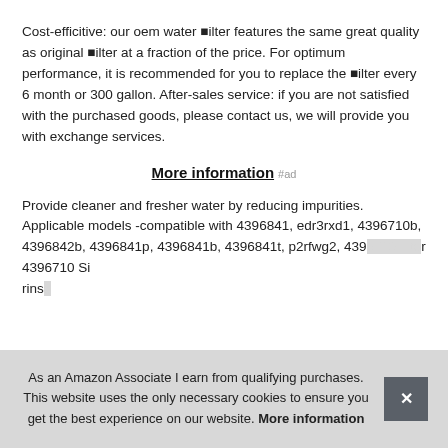Cost-efficitive: our oem water filter features the same great quality as original filter at a fraction of the price. For optimum performance, it is recommended for you to replace the filter every 6 month or 300 gallon. After-sales service: if you are not satisfied with the purchased goods, please contact us, we will provide you with exchange services.
More information #ad
Provide cleaner and fresher water by reducing impurities. Applicable models -compatible with 4396841, edr3rxd1, 4396710b, 4396842b, 4396841p, 4396841b, 4396841t, p2rfwg2, 4396710 filter 4396710 Si rins
As an Amazon Associate I earn from qualifying purchases. This website uses the only necessary cookies to ensure you get the best experience on our website. More information